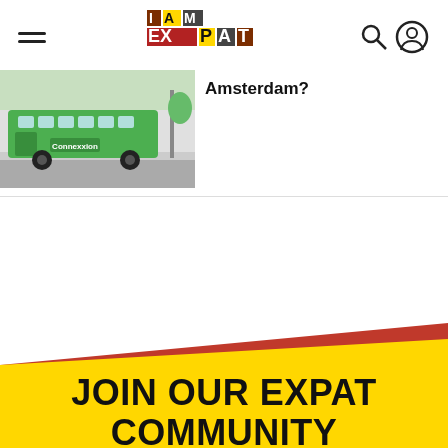I AM EXPAT
[Figure (photo): Green public transport bus parked at a city street stop in Amsterdam]
Amsterdam?
JOIN OUR EXPAT COMMUNITY
Find a job, rent out your room, win tickets and more...